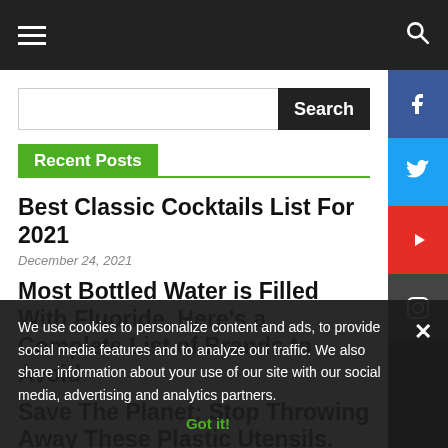Navigation bar with hamburger menu and search icon
Search
Recent Posts
Best Classic Cocktails List For 2021
December 24, 2021
Most Bottled Water is Filled With Fluoride, Here's a Complete List of Brands to Avoid
Save The Planet: Stop Throwing Away These Plastic Utensils. Here's 5 Reasons Why You Should Plant Them Instead
August 10, 2021
We use cookies to personalize content and ads, to provide social media features and to analyze our traffic. We also share information about your use of our site with our social media, advertising and analytics partners. Got it!